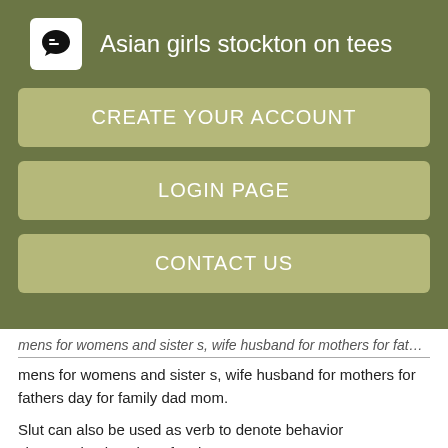Asian girls stockton on tees
CREATE YOUR ACCOUNT
LOGIN PAGE
CONTACT US
mens for womens and sister s, wife husband for mothers for fathers day for family dad mom.
Slut can also be used as verb to denote behavior characterized as that of a slut.
Australia Ajao Bohat Paisa Hai Aj Kal - Halaat Updates From Australia
[Figure (photo): Partial image showing text 'ustralia Ajao Mate' with dark background and people]